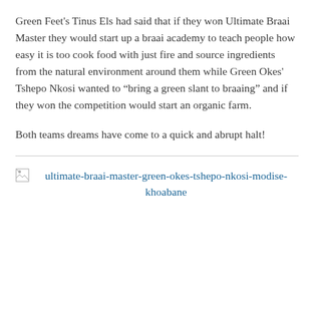Green Feet's Tinus Els had said that if they won Ultimate Braai Master they would start up a braai academy to teach people how easy it is too cook food with just fire and source ingredients from the natural environment around them while Green Okes' Tshepo Nkosi wanted to “bring a green slant to braaing” and if they won the competition would start an organic farm.
Both teams dreams have come to a quick and abrupt halt!
[Figure (other): Broken image placeholder with link text: ultimate-braai-master-green-okes-tshepo-nkosi-modise-khoabane]